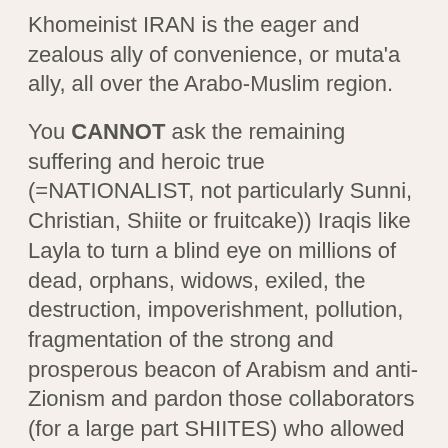Khomeinist IRAN is the eager and zealous ally of convenience, or muta'a ally, all over the Arabo-Muslim region.
You CANNOT ask the remaining suffering and heroic true (=NATIONALIST, not particularly Sunni, Christian, Shiite or fruitcake)) Iraqis like Layla to turn a blind eye on millions of dead, orphans, widows, exiled, the destruction, impoverishment, pollution, fragmentation of the strong and prosperous beacon of Arabism and anti-Zionism and pardon those collaborators (for a large part SHIITES) who allowed this to happen to run after backward, fanatical, murderous sectarian flags, just because they are "Iraqi", born of Iraqi parents who fled from Iraq when they were 2, speak Iraqi Arab with a Persian poison flavour to it, and once upon a time used to carry an Iraqi Baath card which they shamefully sullied by their savage whorish support of the driller-in-chief and regicide Moqtada Ibn Al-Kalb Ibn Al-Set'a wa Seeteen Kalb or other Zionist-Iranian monstrous creatures like the verbal